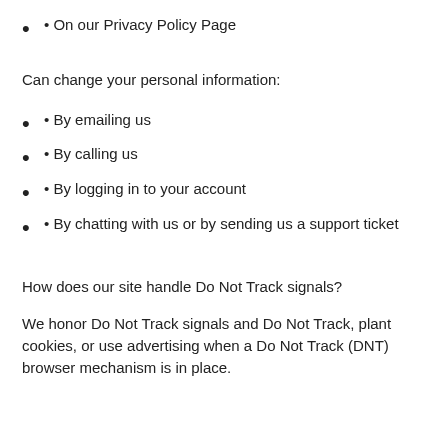• On our Privacy Policy Page
Can change your personal information:
• By emailing us
• By calling us
• By logging in to your account
• By chatting with us or by sending us a support ticket
How does our site handle Do Not Track signals?
We honor Do Not Track signals and Do Not Track, plant cookies, or use advertising when a Do Not Track (DNT) browser mechanism is in place.